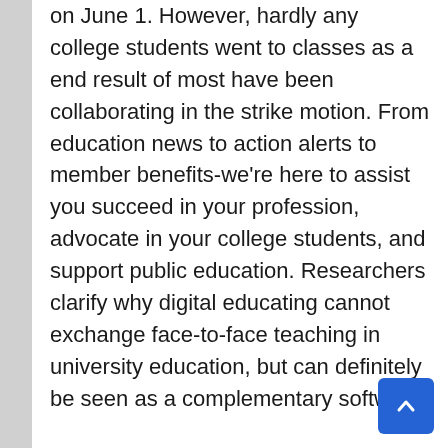on June 1. However, hardly any college students went to classes as a end result of most have been collaborating in the strike motion. From education news to action alerts to member benefits-we're here to assist you succeed in your profession, advocate in your college students, and support public education. Researchers clarify why digital educating cannot exchange face-to-face teaching in university education, but can definitely be seen as a complementary software.
A group of Oakland Unified teachers and college employees from Skyline High School and at least five different schools are planning to name in sick Friday in protest of what they see as lax Covid security protocols by the